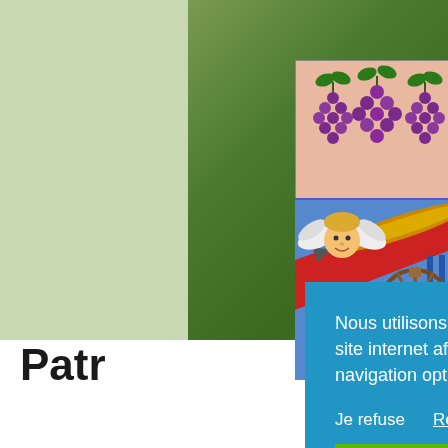[Figure (illustration): Coat of arms with grape clusters on pink/salmon background at top, and angel face with wings, a pencil/torpedo shape on red diagonal band, and a waterwheel on blue background at bottom]
Menu ≡
Patr
Nous utilisons des cookies sur notre site internet afin de vous garantir une navigation optimales.
Je refuse
Réglages des cookies
J'accepte